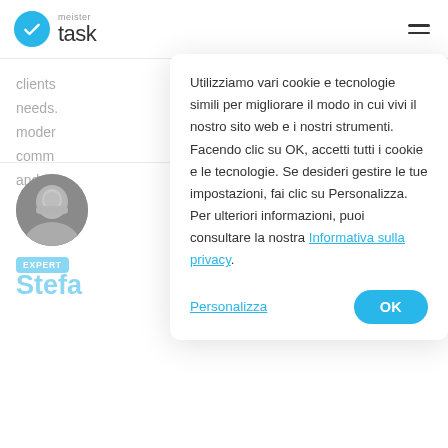[Figure (logo): MeisterTask logo: blue circle with white checkmark, text 'meister task']
clients their needs. er modern e comm lows, and m
Utilizziamo vari cookie e tecnologie simili per migliorare il modo in cui vivi il nostro sito web e i nostri strumenti. Facendo clic su OK, accetti tutti i cookie e le tecnologie. Se desideri gestire le tue impostazioni, fai clic su Personalizza. Per ulteriori informazioni, puoi consultare la nostra Informativa sulla privacy.
[Figure (photo): Black and white portrait photo of a bald man with beard]
EXPERT
Stefa